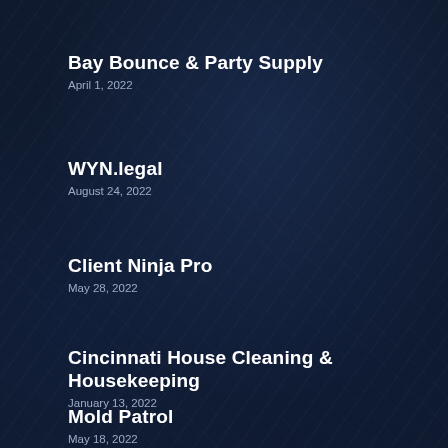Bay Bounce & Party Supply
April 1, 2022
WYN.legal
August 24, 2022
Client Ninja Pro
May 28, 2022
Cincinnati House Cleaning & Housekeeping
January 13, 2022
Mold Patrol
May 18, 2022